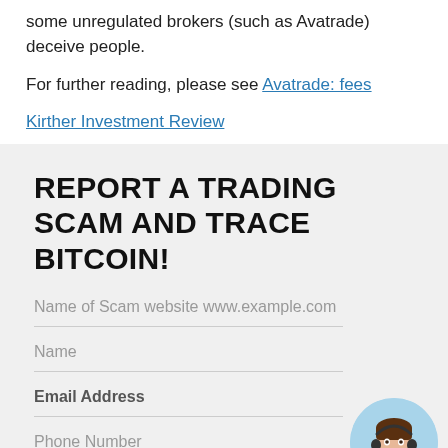some unregulated brokers (such as Avatrade) deceive people.
For further reading, please see Avatrade: fees
Kirther Investment Review
REPORT A TRADING SCAM AND TRACE BITCOIN!
Name of Scam website www.example.com
Name
Email Address
Phone Number
[Figure (photo): Circular avatar photo of a female customer service agent wearing a headset, with a green online status dot in the bottom right.]